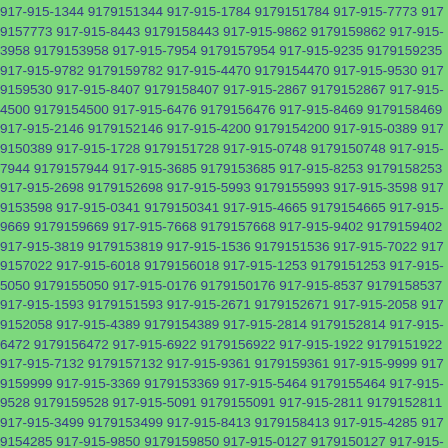917-915-1344 9179151344 917-915-1784 9179151784 917-915-7773 9179157773 917-915-8443 9179158443 917-915-9862 9179159862 917-915-3958 9179153958 917-915-7954 9179157954 917-915-9235 9179159235 917-915-9782 9179159782 917-915-4470 9179154470 917-915-9530 9179159530 917-915-8407 9179158407 917-915-2867 9179152867 917-915-4500 9179154500 917-915-6476 9179156476 917-915-8469 9179158469 917-915-2146 9179152146 917-915-4200 9179154200 917-915-0389 9179150389 917-915-1728 9179151728 917-915-0748 9179150748 917-915-7944 9179157944 917-915-3685 9179153685 917-915-8253 9179158253 917-915-2698 9179152698 917-915-5993 9179155993 917-915-3598 9179153598 917-915-0341 9179150341 917-915-4665 9179154665 917-915-9669 9179159669 917-915-7668 9179157668 917-915-9402 9179159402 917-915-3819 9179153819 917-915-1536 9179151536 917-915-7022 9179157022 917-915-6018 9179156018 917-915-1253 9179151253 917-915-5050 9179155050 917-915-0176 9179150176 917-915-8537 9179158537 917-915-1593 9179151593 917-915-2671 9179152671 917-915-2058 9179152058 917-915-4389 9179154389 917-915-2814 9179152814 917-915-6472 9179156472 917-915-6922 9179156922 917-915-1922 9179151922 917-915-7132 9179157132 917-915-9361 9179159361 917-915-9999 9179159999 917-915-3369 9179153369 917-915-5464 9179155464 917-915-9528 9179159528 917-915-5091 9179155091 917-915-2811 9179152811 917-915-3499 9179153499 917-915-8413 9179158413 917-915-4285 9179154285 917-915-9850 9179159850 917-915-0127 9179150127 917-915-6880 9179156880 917-915-9919 9179159919 917-915-4197 9179154197 917-915-5065 9179155065